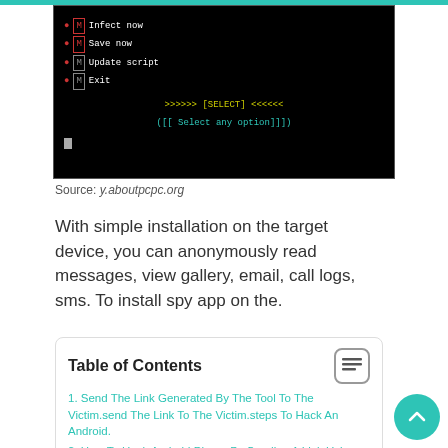[Figure (screenshot): Terminal/command-line interface showing a menu with options: Infect now, Save now, Update script, Exit. Below the menu is a SELECT prompt and a 'Select any option' line.]
Source: y.aboutpcpc.org
With simple installation on the target device, you can anonymously read messages, view gallery, email, call logs, sms. To install spy app on the.
| Table of Contents |
| --- |
| 1. Send The Link Generated By The Tool To The Victim.send The Link To The Victim.steps To Hack An Android. |
| 2. How To Hack Android Phone By Sending A Link Using Kali Linux Easy And Effective Tools To Hack Any Android Phone By Sending A |